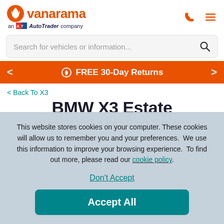vanarama — an AutoTrader company
Search for vehicles or information...
FREE 30-Day Returns
< Back To X3
BMW X3 Estate
xDrive20d MHT xLine 5 Doors Step Auto
This website stores cookies on your computer. These cookies will allow us to remember you and your preferences.  We use this information to improve your browsing experience.  To find out more, please read our cookie policy.
Don't Accept
Accept All